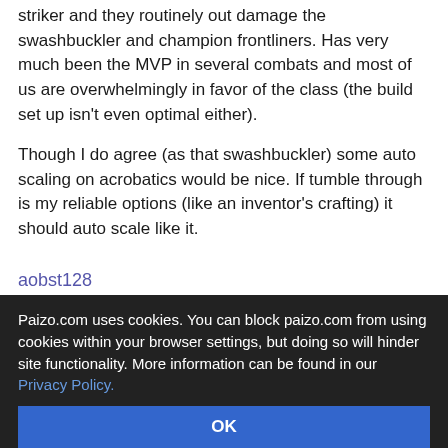striker and they routinely out damage the swashbuckler and champion frontliners. Has very much been the MVP in several combats and most of us are overwhelmingly in favor of the class (the build set up isn't even optimal either).
Though I do agree (as that swashbuckler) some auto scaling on acrobatics would be nice. If tumble through is my reliable options (like an inventor's crafting) it should auto scale like it.
aobst128
Apr 18, 2022, 06:30 pm
The inventor solved the problem swashbuckler has with auto scaling an essential skill. It is weird they didn't take a second look at that.
Paizo.com uses cookies. You can block paizo.com from using cookies within your browser settings, but doing so will hinder site functionality. More information can be found in our Privacy Policy.
OK